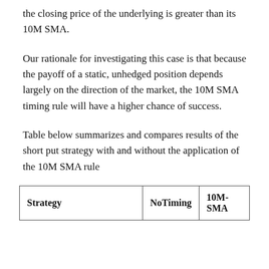the closing price of the underlying is greater than its 10M SMA.
Our rationale for investigating this case is that because the payoff of a static, unhedged position depends largely on the direction of the market, the 10M SMA timing rule will have a higher chance of success.
Table below summarizes and compares results of the short put strategy with and without the application of the 10M SMA rule
| Strategy | NoTiming | 10M-SMA |
| --- | --- | --- |